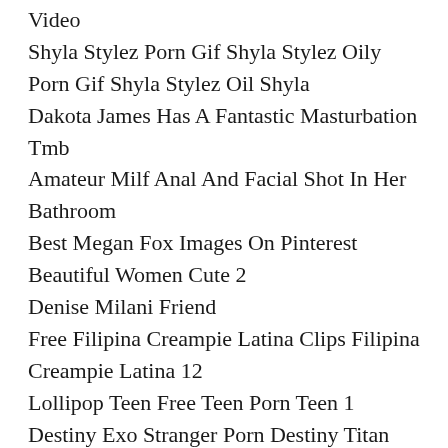Video
Shyla Stylez Porn Gif Shyla Stylez Oily Porn Gif Shyla Stylez Oil Shyla
Dakota James Has A Fantastic Masturbation Tmb
Amateur Milf Anal And Facial Shot In Her Bathroom
Best Megan Fox Images On Pinterest Beautiful Women Cute 2
Denise Milani Friend
Free Filipina Creampie Latina Clips Filipina Creampie Latina 12
Lollipop Teen Free Teen Porn Teen 1
Destiny Exo Stranger Porn Destiny Titan Porn
Destiny Titan Porn Showing Images For Destiny
Webcams Arabe Marocaine Big Huge Ass Butt
Jules Jordans Official Pornstar Website 47